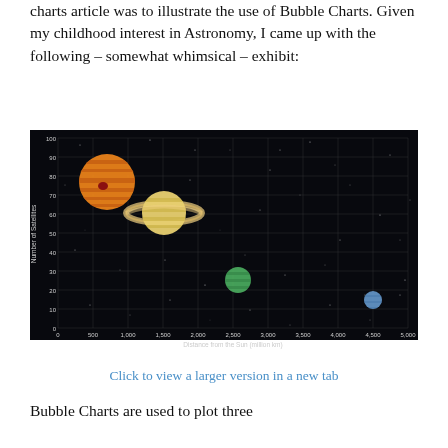charts article was to illustrate the use of Bubble Charts. Given my childhood interest in Astronomy, I came up with the following – somewhat whimsical – exhibit:
[Figure (bubble-chart): Bubble chart showing planets plotted by Distance from the Sun (million km) on x-axis (0 to 5,000) and Number of Satellites on y-axis (0 to 100). Jupiter (large orange/red bubble) near 700 million km and ~80 satellites, Saturn (large yellow bubble with rings) near 1,400 million km and ~60 satellites, Uranus (medium green bubble) near 2,700 million km and ~27 satellites, Neptune (small blue bubble) near 4,500 million km and ~14 satellites. Background is a star field (dark navy/black).]
Click to view a larger version in a new tab
Bubble Charts are used to plot three